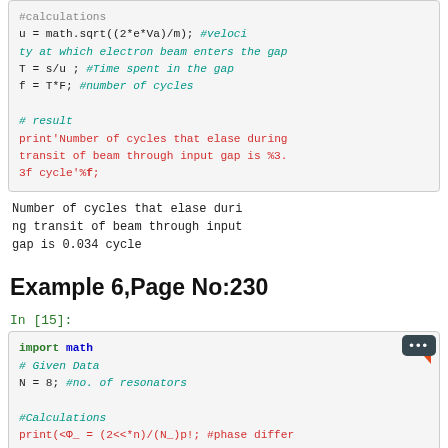[Figure (screenshot): Code block showing Python calculations: u = math.sqrt((2*e*Va)/m) with comment #velocity at which electron beam enters the gap, T = s/u; with comment #Time spent in the gap, f = T*F; with comment #number of cycles, then # result comment and print statement for number of cycles.]
Number of cycles that elase during transit of beam through input gap is 0.034 cycle
Example 6,Page No:230
In [15]:
[Figure (screenshot): Code block showing: import math, # Given Data, N = 8; #no. of resonators, #Calculations, print(phi_ = (2*pi*n)/(N_)p!; #phase differ...]